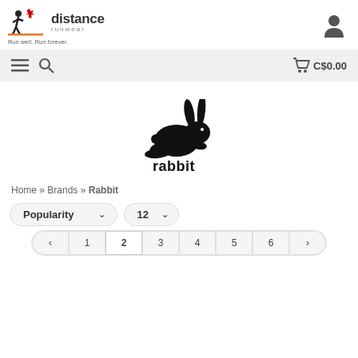[Figure (logo): Distance Runwear logo with maple leaf and running figure, tagline: Run well. Run forever.]
[Figure (logo): Rabbit brand logo - silhouette of a running rabbit above the word 'rabbit' in bold black text]
Home » Brands » Rabbit
Popularity  ∨  12  ∨
‹  1  2  3  4  5  6  ›